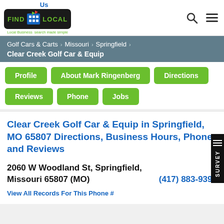[Figure (logo): FindUsLocal logo with blue 'Us' text, green FIND and LOCAL text on dark background, building icon, tagline 'Local Business search made simple']
Golf Cars & Carts > Missouri > Springfield > Clear Creek Golf Car & Equip
Profile
About Mark Ringenberg
Directions
Reviews
Phone
Jobs
Clear Creek Golf Car & Equip in Springfield, MO 65807 Directions, Business Hours, Phone and Reviews
2060 W Woodland St, Springfield, Missouri 65807 (MO)  (417) 883-9393
View All Records For This Phone #